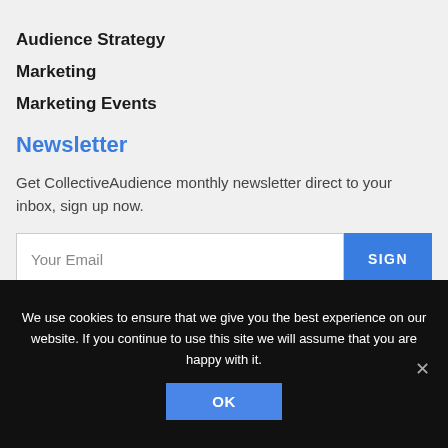Audience Strategy
Marketing
Marketing Events
Newsletter
Get CollectiveAudience monthly newsletter direct to your inbox, sign up now.
Your Email | SIGN
We use cookies to ensure that we give you the best experience on our website. If you continue to use this site we will assume that you are happy with it.
OK